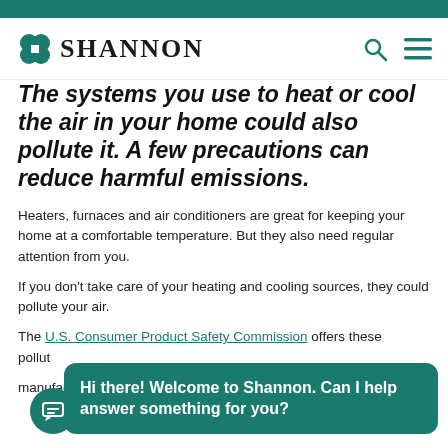Shannon
The systems you use to heat or cool the air in your home could also pollute it. A few precautions can reduce harmful emissions.
Heaters, furnaces and air conditioners are great for keeping your home at a comfortable temperature. But they also need regular attention from you.
If you don't take care of your heating and cooling sources, they could pollute your air.
The U.S. Consumer Product Safety Commission offers these pollution-fighting tips:
Always follow the manufacturer's instructions for changing the air filter.